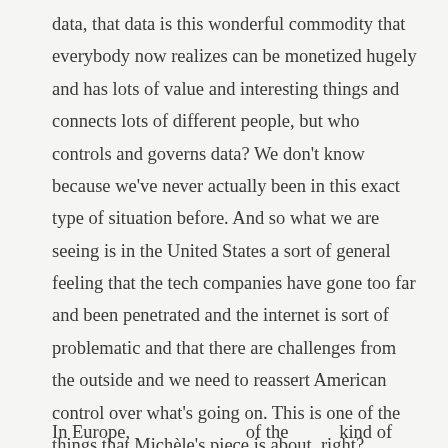data, that data is this wonderful commodity that everybody now realizes can be monetized hugely and has lots of value and interesting things and connects lots of different people, but who controls and governs data? We don’t know because we’ve never actually been in this exact type of situation before. And so what we are seeing is in the United States a sort of general feeling that the tech companies have gone too far and been penetrated and the internet is sort of problematic and that there are challenges from the outside and we need to reassert American control over what’s going on. This is one of the things that Michèle’s piece is about, right?
In Europe...